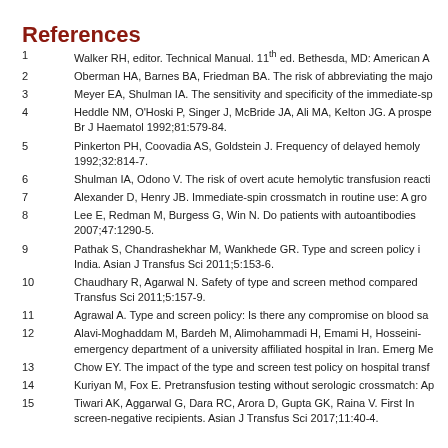References
1   Walker RH, editor. Technical Manual. 11th ed. Bethesda, MD: American A
2   Oberman HA, Barnes BA, Friedman BA. The risk of abbreviating the majo
3   Meyer EA, Shulman IA. The sensitivity and specificity of the immediate-sp
4   Heddle NM, O'Hoski P, Singer J, McBride JA, Ali MA, Kelton JG. A prospe Br J Haematol 1992;81:579-84.
5   Pinkerton PH, Coovadia AS, Goldstein J. Frequency of delayed hemoly 1992;32:814-7.
6   Shulman IA, Odono V. The risk of overt acute hemolytic transfusion reacti
7   Alexander D, Henry JB. Immediate-spin crossmatch in routine use: A gro
8   Lee E, Redman M, Burgess G, Win N. Do patients with autoantibodies 2007;47:1290-5.
9   Pathak S, Chandrashekhar M, Wankhede GR. Type and screen policy i India. Asian J Transfus Sci 2011;5:153-6.
10  Chaudhary R, Agarwal N. Safety of type and screen method compared Transfus Sci 2011;5:157-9.
11  Agrawal A. Type and screen policy: Is there any compromise on blood sa
12  Alavi-Moghaddam M, Bardeh M, Alimohammadi H, Emami H, Hosseini- emergency department of a university affiliated hospital in Iran. Emerg Me
13  Chow EY. The impact of the type and screen test policy on hospital transf
14  Kuriyan M, Fox E. Pretransfusion testing without serologic crossmatch: Ap
15  Tiwari AK, Aggarwal G, Dara RC, Arora D, Gupta GK, Raina V. First In screen-negative recipients. Asian J Transfus Sci 2017;11:40-4.